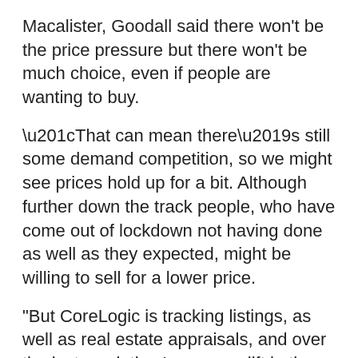Macalister, Goodall said there won't be the price pressure but there won't be much choice, even if people are wanting to buy.
“That can mean there’s still some demand competition, so we might see prices hold up for a bit. Although further down the track people, who have come out of lockdown not having done as well as they expected, might be willing to sell for a lower price.
"But CoreLogic is tracking listings, as well as real estate appraisals, and over the last week they've seen a lift in the appraisals being done by agents. One reason for the lift in appraisals could be people thinking about the market after lockdown – and that could include investors who are concerned about future cash flow, Goodall said.
“Investors who don’t have many properties, are